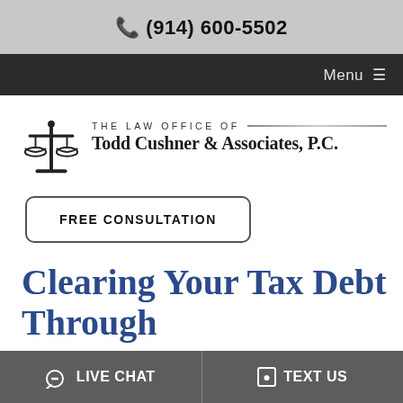📞 (914) 600-5502
Menu ≡
[Figure (logo): The Law Office of Todd Cushner & Associates, P.C. logo with scales of justice icon]
FREE CONSULTATION
Clearing Your Tax Debt Through
LIVE CHAT   TEXT US